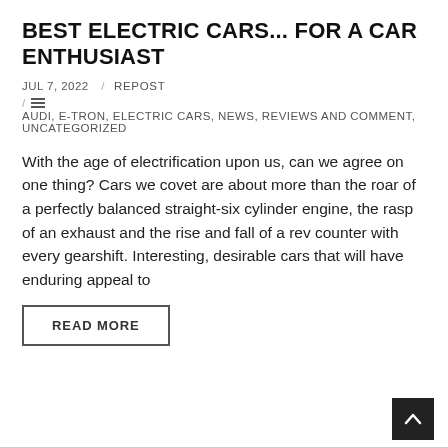BEST ELECTRIC CARS... FOR A CAR ENTHUSIAST
JUL 7, 2022  /  REPOST
/  AUDI, E-TRON, ELECTRIC CARS, NEWS, REVIEWS AND COMMENT, UNCATEGORIZED
With the age of electrification upon us, can we agree on one thing? Cars we covet are about more than the roar of a perfectly balanced straight-six cylinder engine, the rasp of an exhaust and the rise and fall of a rev counter with every gearshift. Interesting, desirable cars that will have enduring appeal to
READ MORE